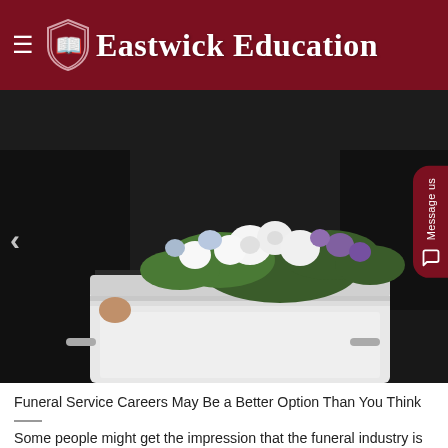Eastwick Education
[Figure (photo): Pallbearers in black suits carrying a white casket with white and purple floral arrangements on top, photographed outdoors]
Funeral Service Careers May Be a Better Option Than You Think
Some people might get the impression that the funeral industry is a morbid and depressing ...